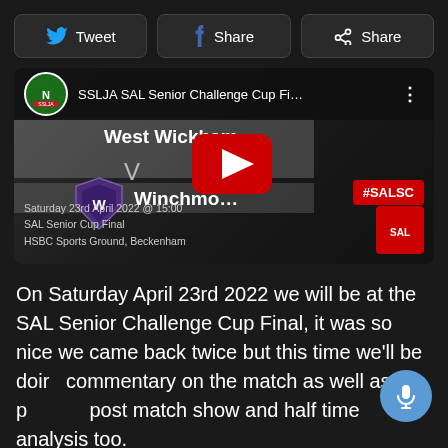[Figure (screenshot): Social sharing buttons: Tweet, Share (Facebook), Share (generic)]
[Figure (screenshot): YouTube video thumbnail: SSLJA SAL Senior Challenge Cup Final, West Wickham vs Winchmore, Saturday 23rd April 2022 @ 15:00, SAL Senior Cup Final, HSBC Sports Ground, Beckenham. Red YouTube play button visible. #SALSC badge.]
On Saturday April 23rd 2022 we will be at the SAL Senior Challenge Cup Final, it was so nice we came back twice but this time we'll be doing commentary on the match as well as the pre and post match show and half time analysis too.